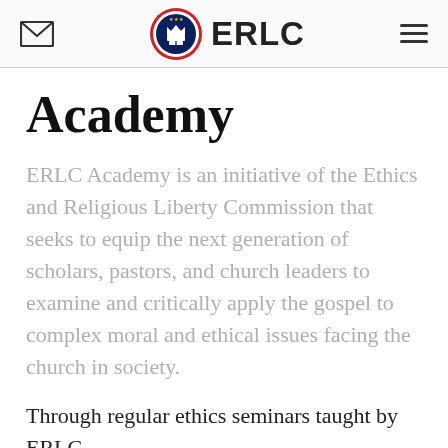ERLC
Academy
ERLC Academy is an initiative of the Ethics and Religious Liberty Commission that seeks to equip the next generation of scholars, pastors, and church leaders to examine and critically apply the gospel to complex moral and ethical issues facing the church in society.
Through regular ethics seminars taught by ERLC